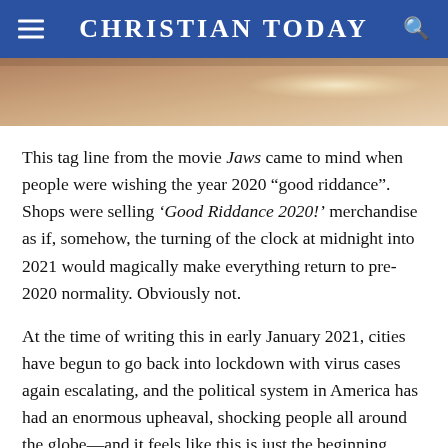CHRISTIAN TODAY
[Figure (photo): Partial photo strip showing a warm tan/sandy scene with light glare, cropped at the top of the article.]
This tag line from the movie Jaws came to mind when people were wishing the year 2020 “good riddance”. Shops were selling ‘Good Riddance 2020!’ merchandise as if, somehow, the turning of the clock at midnight into 2021 would magically make everything return to pre-2020 normality. Obviously not.
At the time of writing this in early January 2021, cities have begun to go back into lockdown with virus cases again escalating, and the political system in America has had an enormous upheaval, shocking people all around the globe—and it feels like this is just the beginning. However, this is